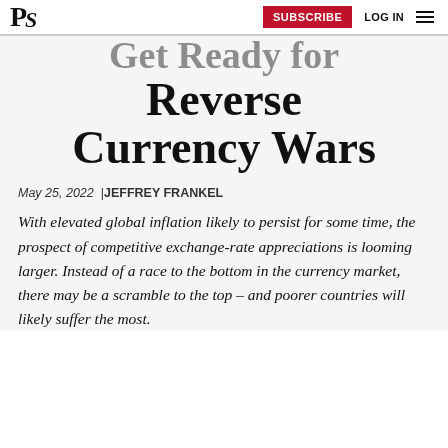PS | SUBSCRIBE  LOG IN
Get Ready for Reverse Currency Wars
May 25, 2022 | JEFFREY FRANKEL
With elevated global inflation likely to persist for some time, the prospect of competitive exchange-rate appreciations is looming larger. Instead of a race to the bottom in the currency market, there may be a scramble to the top – and poorer countries will likely suffer the most.